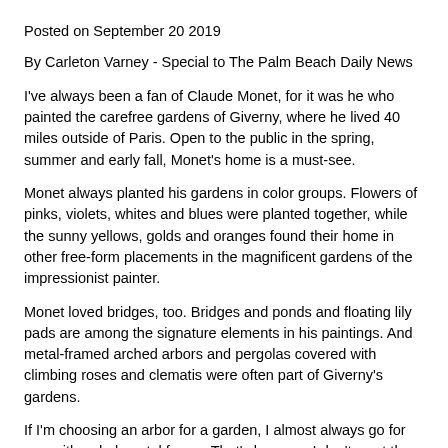Posted on September 20 2019
By Carleton Varney - Special to The Palm Beach Daily News
I've always been a fan of Claude Monet, for it was he who painted the carefree gardens of Giverny, where he lived 40 miles outside of Paris. Open to the public in the spring, summer and early fall, Monet's home is a must-see.
Monet always planted his gardens in color groups. Flowers of pinks, violets, whites and blues were planted together, while the sunny yellows, golds and oranges found their home in other free-form placements in the magnificent gardens of the impressionist painter.
Monet loved bridges, too. Bridges and ponds and floating lily pads are among the signature elements in his paintings. And metal-framed arched arbors and pergolas covered with climbing roses and clematis were often part of Giverny's gardens.
If I'm choosing an arbor for a garden, I almost always go for one with a dark metal frame. That's because I don't want the beauty of the plants to be interrupted by the jarring appearance of a painted or wooden frame. Seems to me that vines, leaves and flowers blend much better with a metal design.